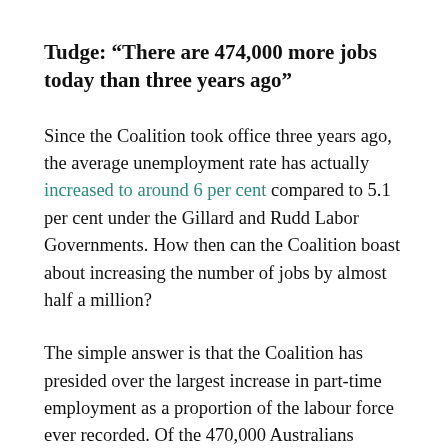Tudge: “There are 474,000 more jobs today than three years ago”
Since the Coalition took office three years ago, the average unemployment rate has actually increased to around 6 per cent compared to 5.1 per cent under the Gillard and Rudd Labor Governments. How then can the Coalition boast about increasing the number of jobs by almost half a million?
The simple answer is that the Coalition has presided over the largest increase in part-time employment as a proportion of the labour force ever recorded. Of the 470,000 Australians employed over the past three years, more than